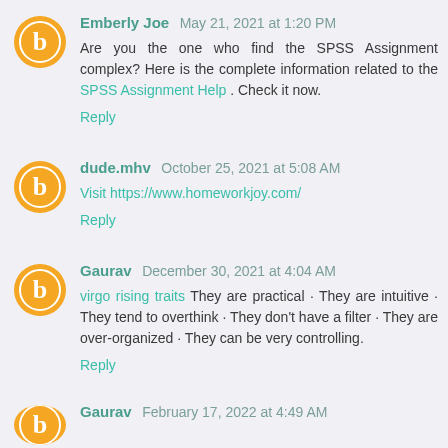Emberly Joe May 21, 2021 at 1:20 PM
Are you the one who find the SPSS Assignment complex? Here is the complete information related to the SPSS Assignment Help . Check it now.
Reply
dude.mhv October 25, 2021 at 5:08 AM
Visit https://www.homeworkjoy.com/
Reply
Gaurav December 30, 2021 at 4:04 AM
virgo rising traits They are practical · They are intuitive · They tend to overthink · They don't have a filter · They are over-organized · They can be very controlling.
Reply
Gaurav February 17, 2022 at 4:49 AM